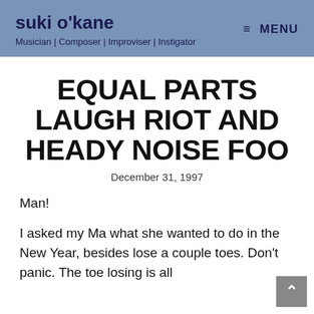suki o'kane — Musician | Composer | Improviser | Instigator
EQUAL PARTS LAUGH RIOT AND HEADY NOISE FOO
December 31, 1997
Man!
I asked my Ma what she wanted to do in the New Year, besides lose a couple toes. Don't panic. The toe losing is all